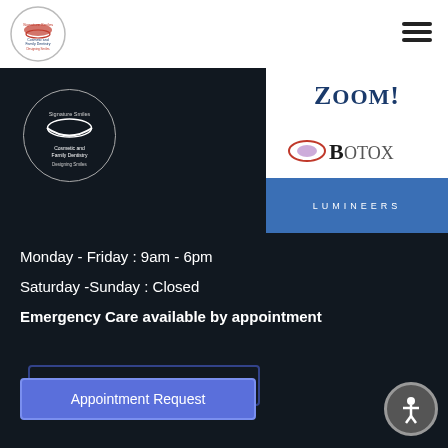[Figure (logo): Signature Smiles Cosmetic and Family Dentistry circular logo in header]
[Figure (logo): Hamburger menu icon (three horizontal lines)]
[Figure (logo): ZOOM! whitening brand logo]
[Figure (logo): BOTOX brand logo]
[Figure (logo): LUMINEERS brand logo on blue background]
[Figure (logo): Signature Smiles Cosmetic and Family Dentistry circular logo on dark background]
Monday - Friday : 9am - 6pm
Saturday -Sunday : Closed
Emergency Care available by appointment
Appointment Request